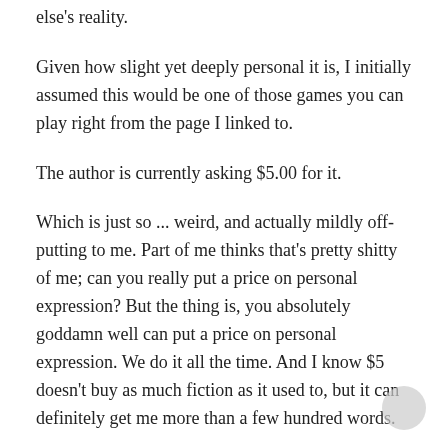else's reality.
Given how slight yet deeply personal it is, I initially assumed this would be one of those games you can play right from the page I linked to.
The author is currently asking $5.00 for it.
Which is just so ... weird, and actually mildly off-putting to me. Part of me thinks that's pretty shitty of me; can you really put a price on personal expression? But the thing is, you absolutely goddamn well can put a price on personal expression. We do it all the time. And I know $5 doesn't buy as much fiction as it used to, but it can definitely get me more than a few hundred words.
If the author were making this freely available, I'd absolutely recommend it as being worth a few minutes of your time.